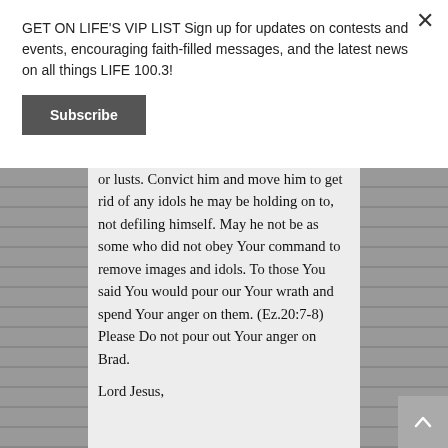GET ON LIFE'S VIP LIST Sign up for updates on contests and events, encouraging faith-filled messages, and the latest news on all things LIFE 100.3!
Subscribe
or lusts. Convict him and move him to get rid of any idols he may be holding on to, not defiling himself. May he not be as some who did not obey Your command to remove images and idols. To those You said You would pour our Your wrath and spend Your anger on them. (Ez.20:7-8) Please Do not pour out Your anger on Brad.
Lord Jesus,